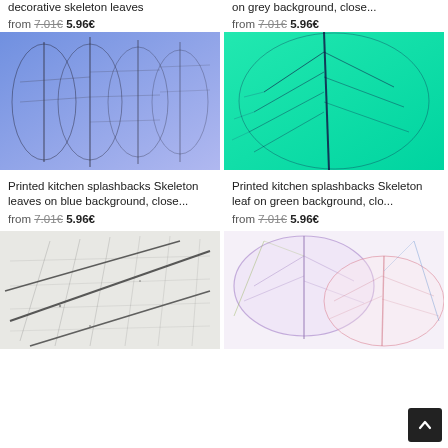decorative skeleton leaves
from 7.01€ 5.96€
on grey background, close...
from 7.01€ 5.96€
[Figure (photo): Skeleton leaves on blue background, close-up photo]
Printed kitchen splashbacks Skeleton leaves on blue background, close...
from 7.01€ 5.96€
[Figure (photo): Skeleton leaf on green background, close-up photo]
Printed kitchen splashbacks Skeleton leaf on green background, clo...
from 7.01€ 5.96€
[Figure (photo): Skeleton leaves pattern on white/grey background]
[Figure (photo): Colorful skeleton leaves pattern on light background]